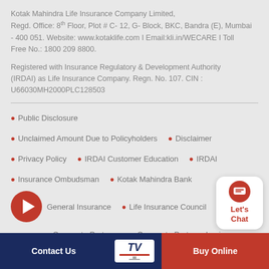Kotak Mahindra Life Insurance Company Limited, Regd. Office: 8th Floor, Plot # C- 12, G- Block, BKC, Bandra (E), Mumbai - 400 051. Website: www.kotaklife.com I Email:kli.in/WECARE I Toll Free No.: 1800 209 8800.
Registered with Insurance Regulatory & Development Authority (IRDAI) as Life Insurance Company. Regn. No. 107. CIN : U66030MH2000PLC128503
Public Disclosure
Unclaimed Amount Due to Policyholders
Disclaimer
Privacy Policy
IRDAI Customer Education
IRDAI
Insurance Ombudsman
Kotak Mahindra Bank
General Insurance
Life Insurance Council
Corporate Partners
Corporate Partners Login
[Figure (other): Red circular play button icon]
[Figure (other): Chat widget with red speech bubble icon and Let's Chat text]
Contact Us  |  TV  |  Buy Online